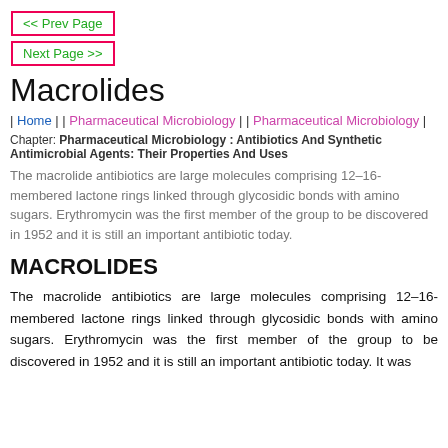<< Prev Page
Next Page >>
Macrolides
| Home | | Pharmaceutical Microbiology | | Pharmaceutical Microbiology |
Chapter: Pharmaceutical Microbiology : Antibiotics And Synthetic Antimicrobial Agents: Their Properties And Uses
The macrolide antibiotics are large molecules comprising 12–16-membered lactone rings linked through glycosidic bonds with amino sugars. Erythromycin was the first member of the group to be discovered in 1952 and it is still an important antibiotic today.
MACROLIDES
The macrolide antibiotics are large molecules comprising 12–16-membered lactone rings linked through glycosidic bonds with amino sugars. Erythromycin was the first member of the group to be discovered in 1952 and it is still an important antibiotic today. It was